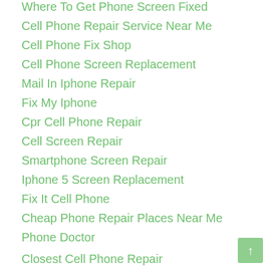Where To Get Phone Screen Fixed
Cell Phone Repair Service Near Me
Cell Phone Fix Shop
Cell Phone Screen Replacement
Mail In Iphone Repair
Fix My Iphone
Cpr Cell Phone Repair
Cell Screen Repair
Smartphone Screen Repair
Iphone 5 Screen Replacement
Fix It Cell Phone
Cheap Phone Repair Places Near Me
Phone Doctor
Closest Cell Phone Repair